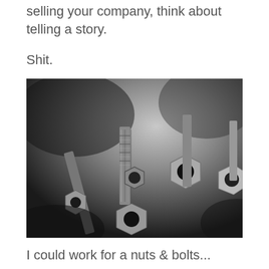selling your company, think about telling a story.
Shit.
[Figure (photo): Black and white close-up photo of nuts and bolts]
I could work for a nuts & bolts...